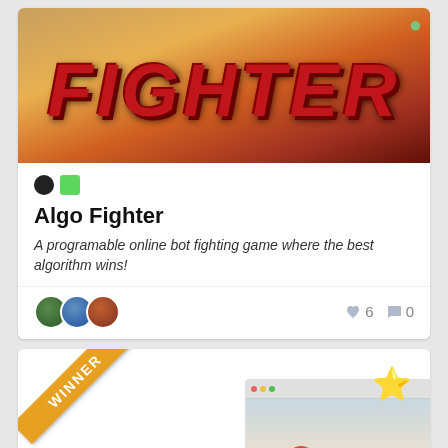[Figure (screenshot): Hero image of 'Algo Fighter' game with large red bold italic 'FIGHTER' text on orange/fire background]
Algo Fighter
A programable online bot fighting game where the best algorithm wins!
[Figure (infographic): Three avatar circles and heart (6) and comment (0) stats]
[Figure (screenshot): WINNER ribbon badge on second card for WWWorld]
WWWorld
A Chrome extension that allows you to react to videos in